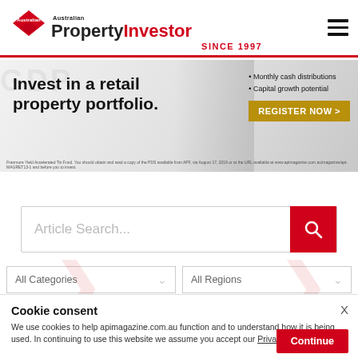Australian PropertyInvestor SINCE 1997
[Figure (infographic): Banner advertisement: Invest in a retail property portfolio. Monthly cash distributions. Capital growth potential. REGISTER NOW >]
Article Search...
All Categories  All Regions
Cookie consent
We use cookies to help apimagazine.com.au function and to understand how it is being used. In continuing to use this website we assume you accept our Privacy Policy.
Interstate Landlords Left In The